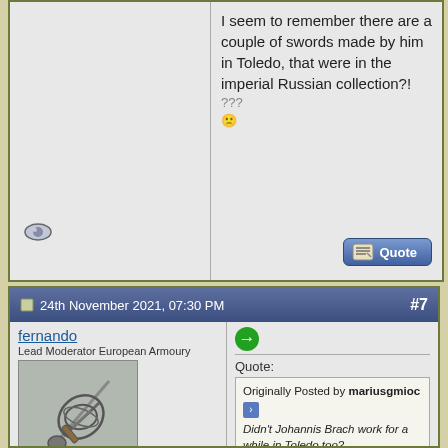I seem to remember there are a couple of swords made by him in Toledo, that were in the imperial Russian collection?!
24th November 2021, 07:30 PM #7
fernando
Lead Moderator European Armoury
[Figure (photo): Photo of a sword hilt with complex basket guard]
Join Date: Dec 2004
Location: Portugal
Posts: 8,914
Quote:
Originally Posted by mariusgmioc
Didn't Johannis Brach work for a while in Toledo too?

I seem to remember there are a couple of swords made by him in Toledo, that were in the imperial Russian collection?!